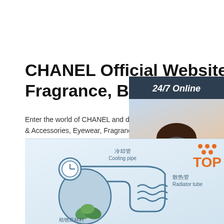CHANEL Official Website: Fashion, Fragrance, Beauty ...
Enter the world of CHANEL and discover the latest in Fashion & Accessories, Eyewear, Fragrance & Beauty, Fi... Watches.
[Figure (other): Green 'Get Price' button]
[Figure (infographic): Chat widget showing '24/7 Online', a customer service representative photo, 'Click here for free chat!' text, and an orange QUOTATION button]
[Figure (engineering-diagram): Partial technical diagram showing cooling pipe (冷却管), radiator tube (散热管), and plant material (植物原材料) labels with an orange TOP logo in the upper right]